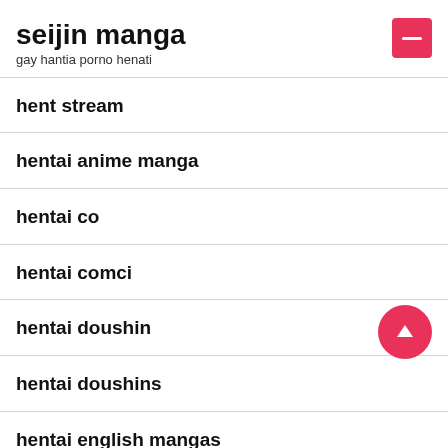seijin manga
gay hantia porno henati
hent stream
hentai anime manga
hentai co
hentai comci
hentai doushin
hentai doushins
hentai english mangas